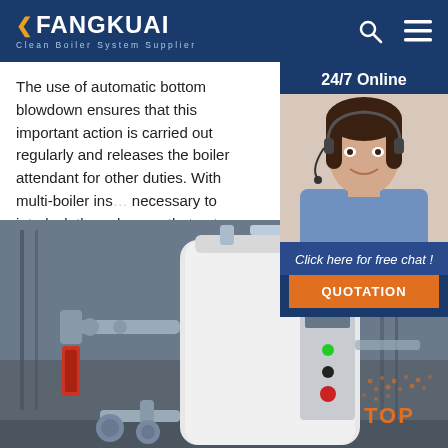FANGKUAI — Clean Boiler System Supplier
The use of automatic bottom blowdown ensures that this important action is carried out regularly and releases the boiler attendant for other duties. With multi-boiler installations it is necessary to interlock the valves so that not more than one is open at any one time, as this would overload th…
[Figure (other): Orange 'Get Price' button]
[Figure (other): Chat support sidebar with agent photo, '24/7 Online' label, 'Click here for free chat!' text, and orange QUOTATION button]
[Figure (photo): Industrial boiler unit in a facility — white cylindrical boiler with pipes, control panel, valves and red flow meter visible]
[Figure (other): Orange 'TOP' badge with dot pattern in lower right corner]